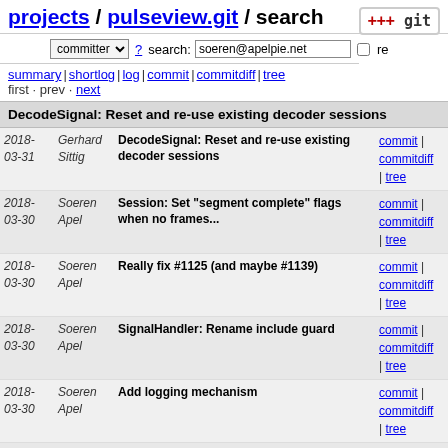projects / pulseview.git / search
committer ? search: soeren@apelpie.net re
summary | shortlog | log | commit | commitdiff | tree
first · prev · next
DecodeSignal: Reset and re-use existing decoder sessions
| Date | Author | Message | Links |
| --- | --- | --- | --- |
| 2018-03-31 | Gerhard Sittig | DecodeSignal: Reset and re-use existing decoder sessions | commit | commitdiff | tree |
| 2018-03-30 | Soeren Apel | Session: Set "segment complete" flags when no frames... | commit | commitdiff | tree |
| 2018-03-30 | Soeren Apel | Really fix #1125 (and maybe #1139) | commit | commitdiff | tree |
| 2018-03-30 | Soeren Apel | SignalHandler: Rename include guard | commit | commitdiff | tree |
| 2018-03-30 | Soeren Apel | Add logging mechanism | commit | commitdiff | tree |
| 2018-03-29 | Soeren Apel | Add boost::stacktrace support | commit | commitdiff | tree |
| 2018-03-12 | Soeren Apel | Apply changes suggested by clang-tidy | commit | commitdiff | tree |
| 2018-03-12 | Soeren Apel | Fix #1125 by adding a missing typecast | commit | commitdiff | tree |
| 2018-03-12 | Soeren Apel | SignalBase: Speed up conversion and... | commit | commitdiff |